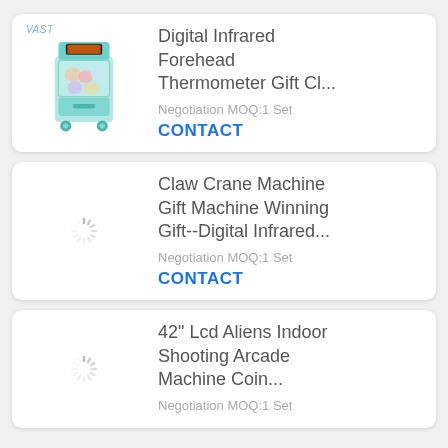[Figure (photo): Claw crane vending machine (teal/mint color) with VAST label]
Digital Infrared Forehead Thermometer Gift Cl...
Negotiation MOQ:1 Set
CONTACT
[Figure (other): Loading spinner icon]
Claw Crane Machine Gift Machine Winning Gift--Digital Infrared...
Negotiation MOQ:1 Set
CONTACT
[Figure (other): Loading spinner icon]
42" Lcd Aliens Indoor Shooting Arcade Machine Coin...
Negotiation MOQ:1 Set